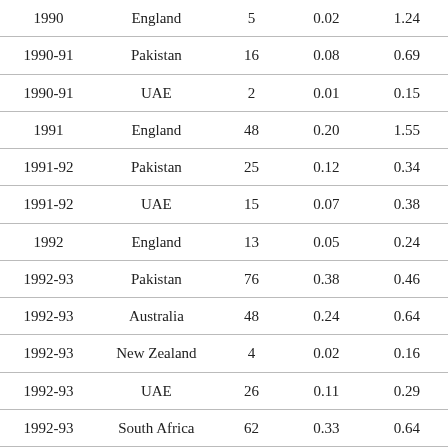| 1990 | England | 5 | 0.02 | 1.24 |
| 1990-91 | Pakistan | 16 | 0.08 | 0.69 |
| 1990-91 | UAE | 2 | 0.01 | 0.15 |
| 1991 | England | 48 | 0.20 | 1.55 |
| 1991-92 | Pakistan | 25 | 0.12 | 0.34 |
| 1991-92 | UAE | 15 | 0.07 | 0.38 |
| 1992 | England | 13 | 0.05 | 0.24 |
| 1992-93 | Pakistan | 76 | 0.38 | 0.46 |
| 1992-93 | Australia | 48 | 0.24 | 0.64 |
| 1992-93 | New Zealand | 4 | 0.02 | 0.16 |
| 1992-93 | UAE | 26 | 0.11 | 0.29 |
| 1992-93 | South Africa | 62 | 0.33 | 0.64 |
| 1992-93 | Zimbabwe | 0 | 0.00 | 0.09 |
| 1992-93 | West Indies | 5 | 0.03 | 0.16 |